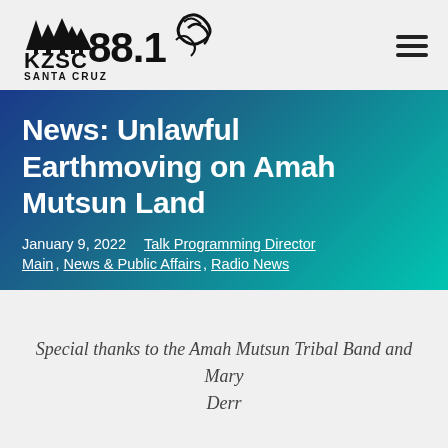[Figure (logo): KZSC 88.1 Santa Cruz radio station logo with tree silhouettes and wave graphic]
News: Unlawful Earthmoving on Amah Mutsun Land
January 9, 2022   Talk Programming Director
Main, News & Public Affairs, Radio News
Special thanks to the Amah Mutsun Tribal Band and Mary Derr